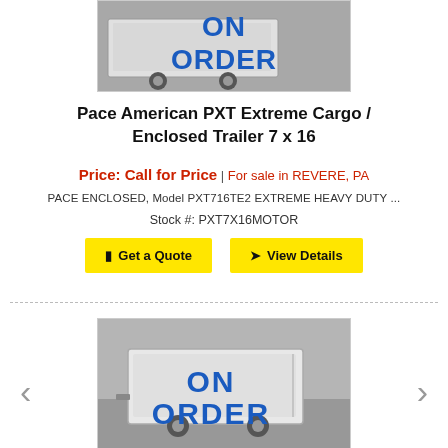[Figure (photo): Partial view of an enclosed cargo trailer with 'ON ORDER' text overlay, shown in grayscale at the top of the page (cropped)]
Pace American PXT Extreme Cargo / Enclosed Trailer 7 x 16
Price: Call for Price | For sale in REVERE, PA
PACE ENCLOSED, Model PXT716TE2 EXTREME HEAVY DUTY ...
Stock #: PXT7X16MOTOR
Get a Quote
View Details
[Figure (photo): Enclosed cargo trailer showing 'ON ORDER' text overlay in blue, on a grayscale background with a building visible. Navigation arrows (< >) visible on sides.]